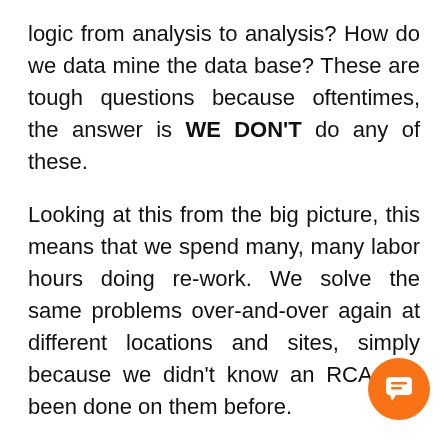logic from analysis to analysis? How do we data mine the data base? These are tough questions because oftentimes, the answer is WE DON'T do any of these.
Looking at this from the big picture, this means that we spend many, many labor hours doing re-work. We solve the same problems over-and-over again at different locations and sites, simply because we didn't know an RCA had been done on them before.
While many of us may not say this out loud, there is a psychological benefit of constructing such analyses as described (manually). Because to m in leadership, it gives the optics of 'work' and 'collaboration'. After all, I see big pieces of paper on